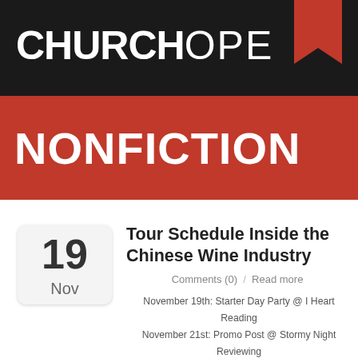CHURCHOPE
NONFICTION
Tour Schedule Inside the Chinese Wine Industry
Comments (0)  /  Read more
November 19th: Starter Day Party @ I Heart Reading
November 21st: Promo Post @ Stormy Night Reviewing
November 23rd: Author Interview @ Majanka's Blog
November 25th: Book Excerpt @ Author C.A. Milson's Blog
November 27th: Guest Post @ Editor Charlene's Blog
November 28th: Book Review @ Editor Charlene's Blog
November 29th: Promo Post @ Nesie's…